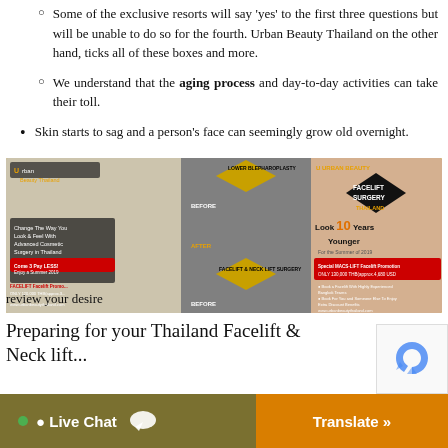Some of the exclusive resorts will say 'yes' to the first three questions but will be unable to do so for the fourth. Urban Beauty Thailand on the other hand, ticks all of these boxes and more.
We understand that the aging process and day-to-day activities can take their toll.
Skin starts to sag and a person's face can seemingly grow old overnight.
[Figure (photo): Urban Beauty Thailand promotional banner showing before/after facelift surgery results, featuring a couple and close-up eye surgery images. Text reads 'LOWER BLEPHAROPLASTY', 'FACELIFT SURGERY THAILAND', 'Look 10 Years Younger For the Summer of 2019', 'FACELIFT & NECK LIFT SURGERY', with pricing and contact information.]
Preparing for your Thailand Facelift & Neck lift...
review your desire